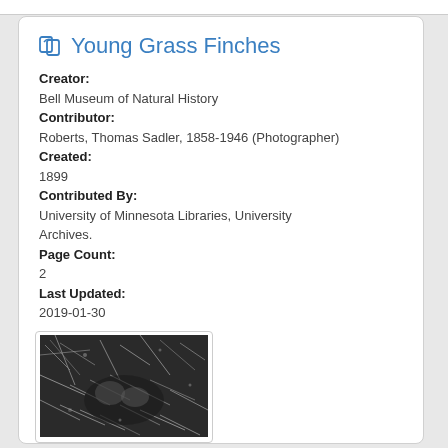Young Grass Finches
Creator:
Bell Museum of Natural History
Contributor:
Roberts, Thomas Sadler, 1858-1946 (Photographer)
Created:
1899
Contributed By:
University of Minnesota Libraries, University Archives.
Page Count:
2
Last Updated:
2019-01-30
[Figure (photo): Black and white photograph of young grass finches in a nest among grass and twigs]